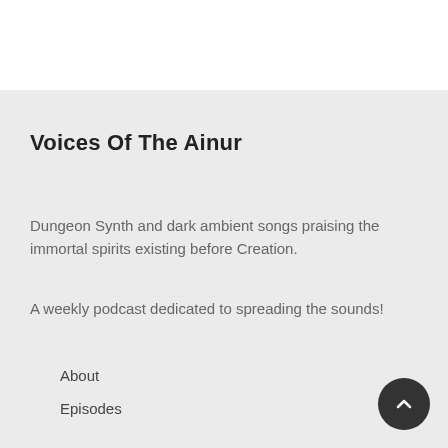Voices Of The Ainur
Dungeon Synth and dark ambient songs praising the immortal spirits existing before Creation.
A weekly podcast dedicated to spreading the sounds!
About
Episodes